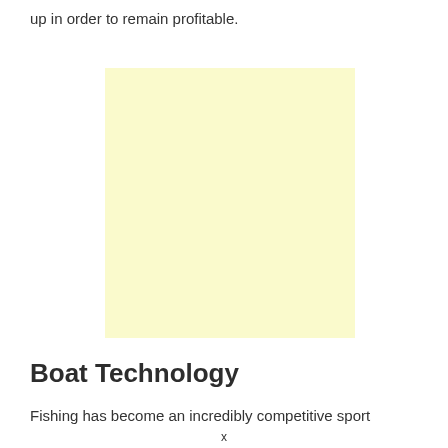up in order to remain profitable.
[Figure (other): Light yellow square advertisement or placeholder image block]
Boat Technology
Fishing has become an incredibly competitive sport
x